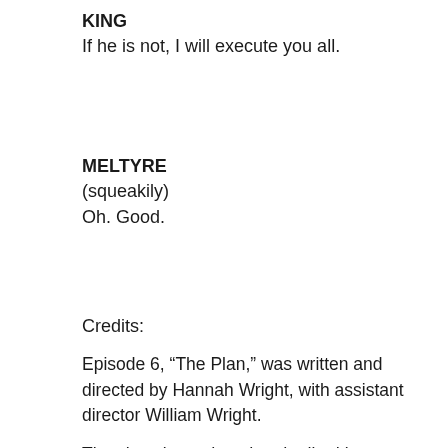KING
If he is not, I will execute you all.
MELTYRE
(squeakily)
Oh. Good.
Credits:
Episode 6, “The Plan,” was written and directed by Hannah Wright, with assistant director William Wright.
The show is produced and edited by Katherine Ayers.
The voice of Sterling is Marquis Dijon Archuleta; the